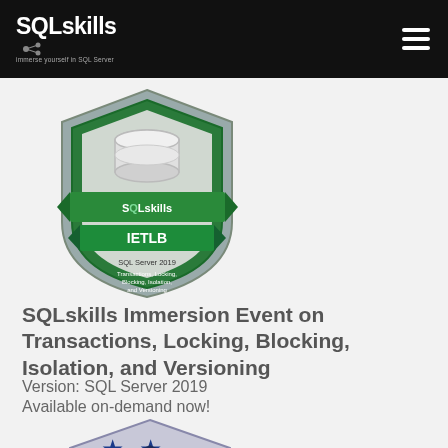SQLskills — immerse yourself in SQL Server
[Figure (logo): SQLskills IETLB badge — shield shape with SQL Server database icon on top, green ribbon banner reading 'SQLskills', 'IETLB', 'SQL Server 2019', 'Transactions, Locking, Blocking, Isolation, and Versioning']
SQLskills Immersion Event on Transactions, Locking, Blocking, Isolation, and Versioning
Version: SQL Server 2019
Available on-demand now!
[Figure (logo): Partial second SQLskills badge visible at bottom — two blue stars and a roof/chevron shape in navy blue, similar shield style]